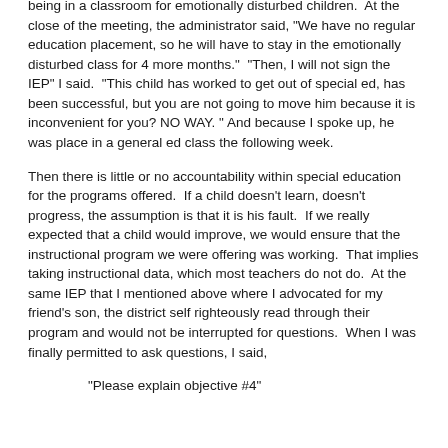being in a classroom for emotionally disturbed children.  At the close of the meeting, the administrator said, "We have no regular education placement, so he will have to stay in the emotionally disturbed class for 4 more months."  "Then, I will not sign the IEP" I said.  "This child has worked to get out of special ed, has been successful, but you are not going to move him because it is inconvenient for you? NO WAY. " And because I spoke up, he was place in a general ed class the following week.
Then there is little or no accountability within special education for the programs offered.  If a child doesn't learn, doesn't progress, the assumption is that it is his fault.  If we really expected that a child would improve, we would ensure that the instructional program we were offering was working.  That implies taking instructional data, which most teachers do not do.  At the same IEP that I mentioned above where I advocated for my friend's son, the district self righteously read through their program and would not be interrupted for questions.  When I was finally permitted to ask questions, I said,
"Please explain objective #4"